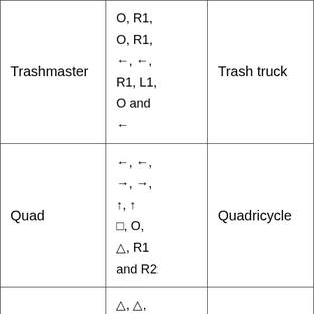| Trashmaster | O, R1,
O, R1,
←, ←,
R1, L1,
O and
← | Trash truck |
| Quad | ←, ←,
→, →,
↑, ↑
□, O,
△, R1
and R2 | Quadricycle |
|  | △, △, |  |